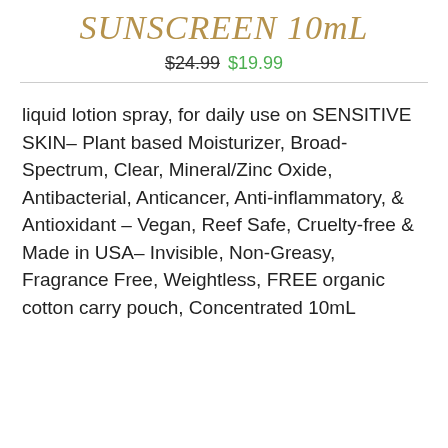SUNSCREEN 10mL
$24.99  $19.99
liquid lotion spray, for daily use on SENSITIVE SKIN– Plant based Moisturizer, Broad-Spectrum, Clear, Mineral/Zinc Oxide, Antibacterial, Anticancer, Anti-inflammatory, & Antioxidant – Vegan, Reef Safe, Cruelty-free & Made in USA– Invisible, Non-Greasy, Fragrance Free, Weightless, FREE organic cotton carry pouch, Concentrated 10mL